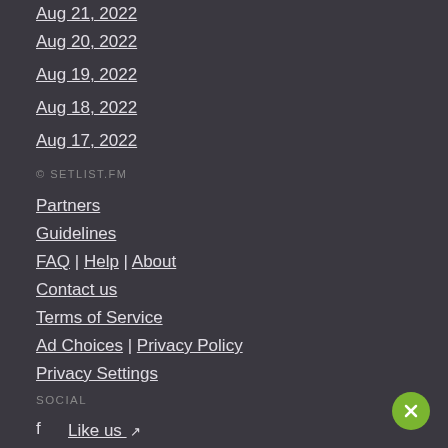Aug 21, 2022
Aug 20, 2022
Aug 19, 2022
Aug 18, 2022
Aug 17, 2022
© SETLIST.FM
Partners
Guidelines
FAQ | Help | About
Contact us
Terms of Service
Ad Choices | Privacy Policy
Privacy Settings
SOCIAL
Like us ↗
Follow us ↗
Follow us ↗
Feature requests ↗